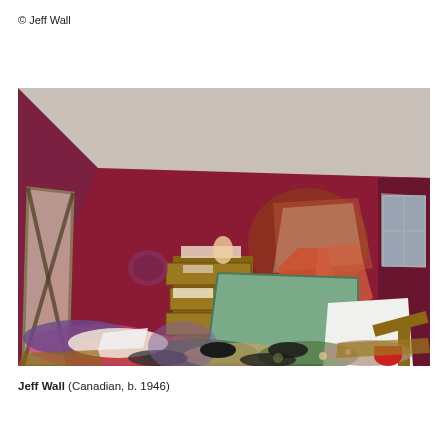© Jeff Wall
[Figure (photo): Photograph by Jeff Wall showing a destroyed room with dark magenta/burgundy walls. The room is in complete disarray with a toppled chest of drawers, a mattress leaning against the wall, scattered clothing, fabric, and debris covering the entire floor. A damaged wall section reveals structure beneath. A mirror leans on the left wall and a window with plastic covering is visible on the right. The scene depicts extreme disorder as if the room has been ransacked or devastated.]
Jeff Wall (Canadian, b. 1946)